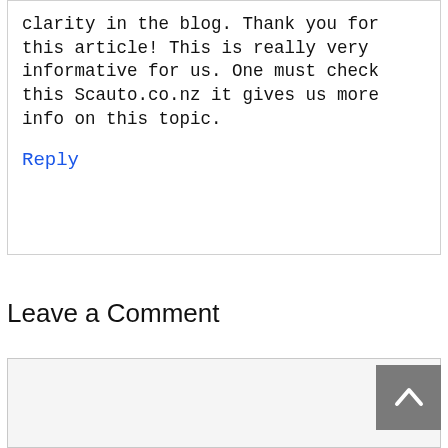clarity in the blog. Thank you for this article! This is really very informative for us. One must check this Scauto.co.nz it gives us more info on this topic.
Reply
Leave a Comment